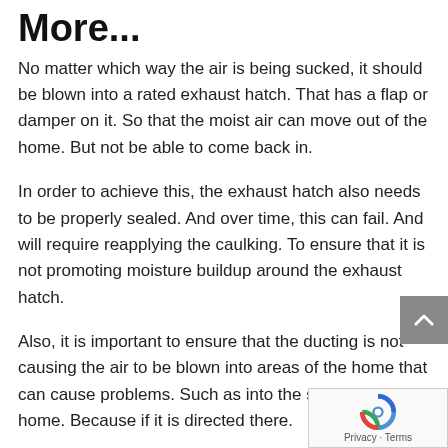More...
No matter which way the air is being sucked, it should be blown into a rated exhaust hatch. That has a flap or damper on it. So that the moist air can move out of the home. But not be able to come back in.
In order to achieve this, the exhaust hatch also needs to be properly sealed. And over time, this can fail. And will require reapplying the caulking. To ensure that it is not promoting moisture buildup around the exhaust hatch.
Also, it is important to ensure that the ducting is not causing the air to be blown into areas of the home that can cause problems. Such as into the soffits of the home. Because if it is directed there.
That air will be sucked into the attic. Where it will develop moisture buildup, and promote mould